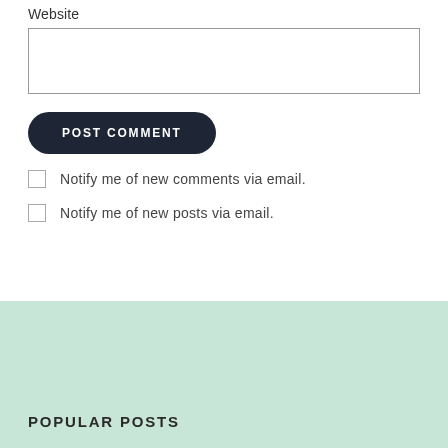Website
POST COMMENT
Notify me of new comments via email.
Notify me of new posts via email.
POPULAR POSTS